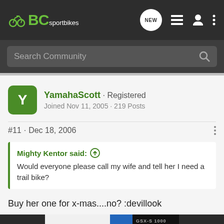BC sportbikes — navigation bar with NEW, list, user, menu icons
Search Community
YamahaScott · Registered
Joined Nov 11, 2005 · 219 Posts
#11 · Dec 18, 2006
Mighty Kentor said: ↑
Would everyone please call my wife and tell her I need a trail bike?
Buy her one for x-mas....no? :devillook
flyfishin... down
[Figure (screenshot): Suzuki GSX-S1000GT advertisement banner]